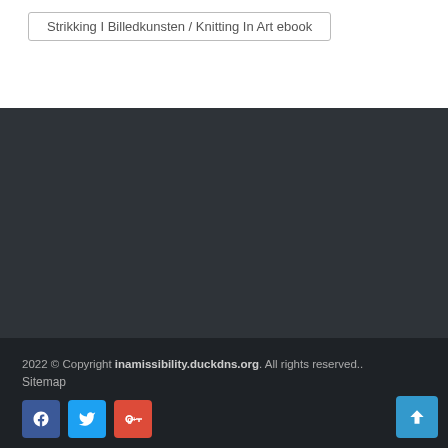Strikking I Billedkunsten / Knitting In Art ebook
2022 © Copyright inamissibility.duckdns.org. All rights reserved.. Sitemap
[Figure (other): Social media icons: Facebook (blue), Twitter (light blue), Google+ (red)]
[Figure (other): Scroll to top button, teal/blue arrow pointing up]